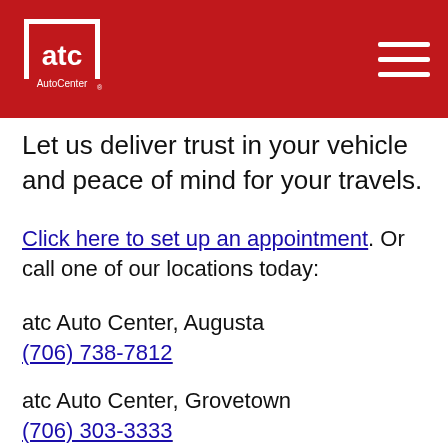[Figure (logo): ATC AutoCenter logo — white text on red background, square logomark with 'atc' and 'AutoCenter' text]
Let us deliver trust in your vehicle and peace of mind for your travels.
Click here to set up an appointment. Or call one of our locations today:
atc Auto Center, Augusta
(706) 738-7812
atc Auto Center, Grovetown
(706) 303-3333